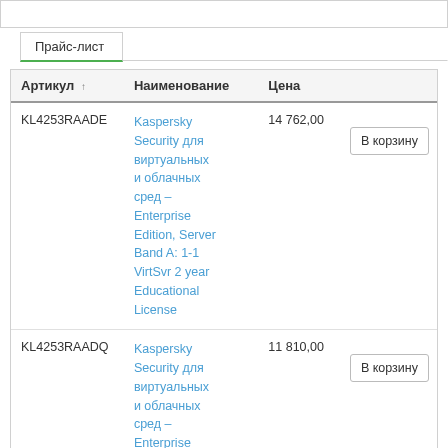Прайс-лист
| Артикул | Наименование | Цена |  |
| --- | --- | --- | --- |
| KL4253RAADE | Kaspersky Security для виртуальных и облачных сред – Enterprise Edition, Server Band A: 1-1 VirtSvr 2 year Educational License | 14 762,00 | В корзину |
| KL4253RAADQ | Kaspersky Security для виртуальных и облачных сред – Enterprise Edition, Server Band A: 1-1 VirtSvr 2 year Educational Renewal License | 11 810,00 | В корзину |